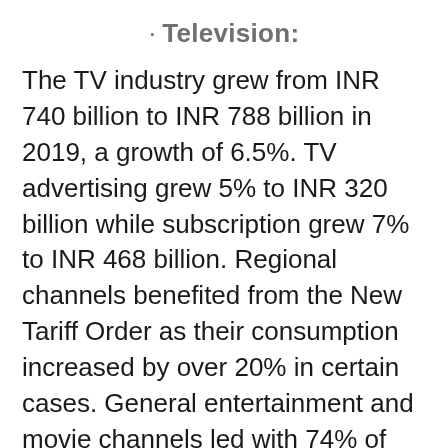· Television:
The TV industry grew from INR 740 billion to INR 788 billion in 2019, a growth of 6.5%. TV advertising grew 5% to INR 320 billion while subscription grew 7% to INR 468 billion. Regional channels benefited from the New Tariff Order as their consumption increased by over 20% in certain cases. General entertainment and movie channels led with 74% of viewership. On the back of several key announcements by the central and state governments such as Article 370, the Citizenship Amendment Act, and a general election, the news genre witnessed a growth to almost 9%